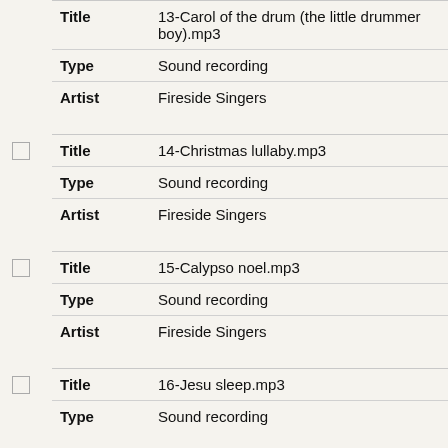| Title | 13-Carol of the drum (the little drummer boy).mp3 |
| Type | Sound recording |
| Artist | Fireside Singers |
| Title | 14-Christmas lullaby.mp3 |
| Type | Sound recording |
| Artist | Fireside Singers |
| Title | 15-Calypso noel.mp3 |
| Type | Sound recording |
| Artist | Fireside Singers |
| Title | 16-Jesu sleep.mp3 |
| Type | Sound recording |